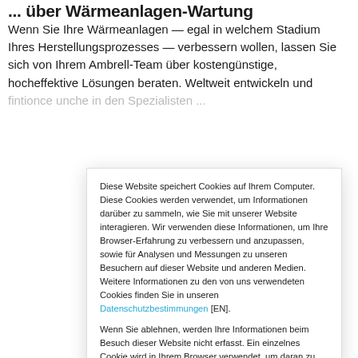... über Wärmeanlagen-Wartung
Wenn Sie Ihre Wärmeanlagen — egal in welchem Stadium Ihres Herstellungsprozesses — verbessern wollen, lassen Sie sich von Ihrem Ambrell-Team über kostengünstige, hocheffektive Lösungen beraten. Weltweit entwickeln und ...
Diese Website speichert Cookies auf Ihrem Computer. Diese Cookies werden verwendet, um Informationen darüber zu sammeln, wie Sie mit unserer Website interagieren. Wir verwenden diese Informationen, um Ihre Browser-Erfahrung zu verbessern und anzupassen, sowie für Analysen und Messungen zu unseren Besuchern auf dieser Website und anderen Medien. Weitere Informationen zu den von uns verwendeten Cookies finden Sie in unseren Datenschutzbestimmungen [EN].
Wenn Sie ablehnen, werden Ihre Informationen beim Besuch dieser Website nicht erfasst. Ein einzelnes Cookie wird in Ihrem Browser verwendet, um daran zu erinnern, dass Sie nicht nachverfolgt werden möchten.
Akzeptieren | Ablehnen